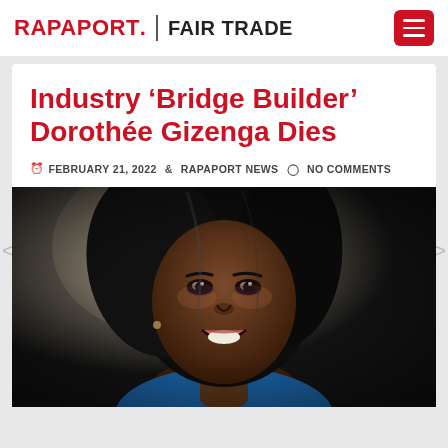RAPAPORT. | FAIR TRADE
Industry ‘Bridge Builder’ Dorothée Gizenga Dies
FEBRUARY 21, 2022  RAPAPORT NEWS  NO COMMENTS
[Figure (photo): Portrait photograph of Dorothée Gizenga, a smiling woman with dark hair, wearing a blue top, close-up face shot]